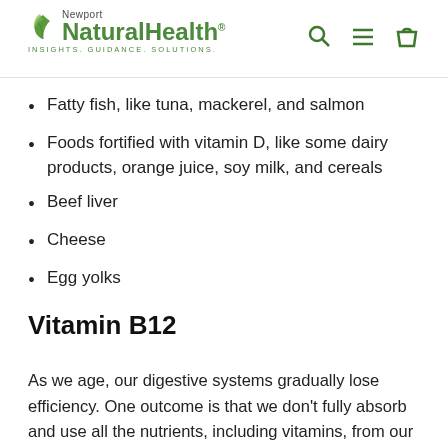Newport NaturalHealth — INSIGHTS. GUIDANCE. SOLUTIONS.
Fatty fish, like tuna, mackerel, and salmon
Foods fortified with vitamin D, like some dairy products, orange juice, soy milk, and cereals
Beef liver
Cheese
Egg yolks
Vitamin B12
As we age, our digestive systems gradually lose efficiency. One outcome is that we don't fully absorb and use all the nutrients, including vitamins, from our foods.